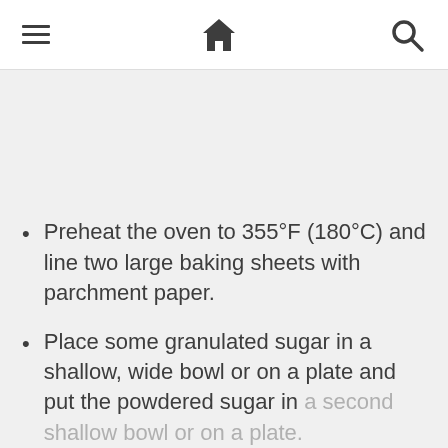≡  🏠  🔍
Preheat the oven to 355°F (180°C) and line two large baking sheets with parchment paper.
Place some granulated sugar in a shallow, wide bowl or on a plate and put the powdered sugar in a second shallow bowl or on a plate.